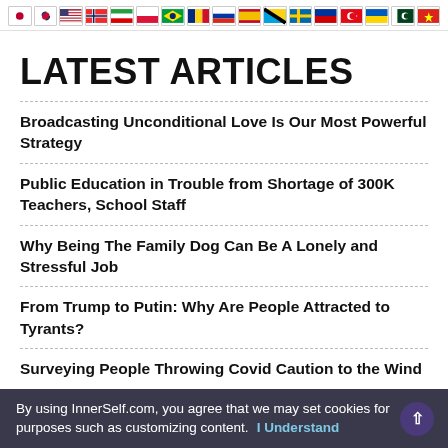[Figure (other): Row of country flag icons: Japan, South Korea, USA, Norway, Iran, Poland, Brazil, Romania, Russia, Spain, Tanzania, Sweden, unknown, Turkey, Ukraine, Pakistan, Vietnam]
LATEST ARTICLES
Broadcasting Unconditional Love Is Our Most Powerful Strategy
Public Education in Trouble from Shortage of 300K Teachers, School Staff
Why Being The Family Dog Can Be A Lonely and Stressful Job
From Trump to Putin: Why Are People Attracted to Tyrants?
Surveying People Throwing Covid Caution to the Wind
By using InnerSelf.com, you agree that we may set cookies for purposes such as customizing content.  I Understand